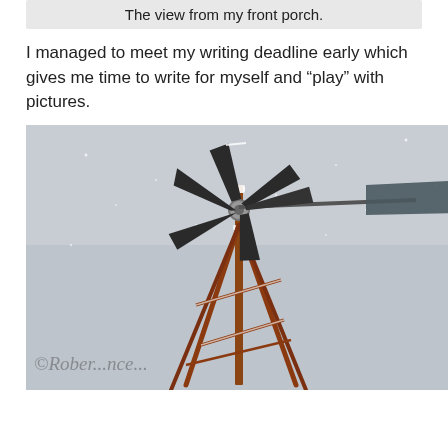The view from my front porch.
I managed to meet my writing deadline early which gives me time to write for myself and “play” with pictures.
[Figure (photo): A snow-covered windmill photographed from below against a grey overcast sky. The windmill has dark metal blades and a tail vane, with a rust-red lattice tower structure dusted with snow. A watermark is partially visible at the bottom of the image.]